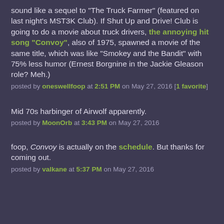sound like a sequel to "The Truck Farmer" (featured on last night's MST3K Club). If Shut Up and Drive! Club is going to do a movie about truck drivers, the annoying hit song "Convoy", also of 1975, spawned a movie of the same title, which was like "Smokey and the Bandit" with 75% less humor (Ernest Borgnine in the Jackie Gleason role? Meh.)
posted by oneswellfoop at 2:51 PM on May 27, 2016 [1 favorite]
Mid 70s harbinger of Airwolf apparently.
posted by MoonOrb at 3:43 PM on May 27, 2016
foop, Convoy is actually on the schedule. But thanks for coming out.
posted by valkane at 5:37 PM on May 27, 2016